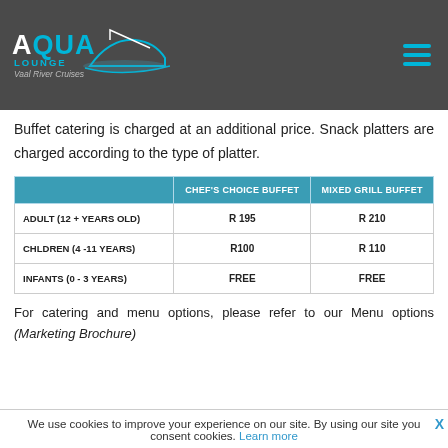Aqua Lounge Vaal River Cruises
Any cruise with buffet-style catering has a minimum required duration of 2 hours.
Buffet catering is charged at an additional price. Snack platters are charged according to the type of platter.
|  | CHEF'S CHOICE BUFFET | MIXED GRILL BUFFET |
| --- | --- | --- |
| ADULT (12 + YEARS OLD) | R 195 | R 210 |
| CHLDREN (4 -11 YEARS) | R100 | R 110 |
| INFANTS (0 - 3 YEARS) | FREE | FREE |
For catering and menu options, please refer to our Menu options (Marketing Brochure)
We use cookies to improve your experience on our site. By using our site you consent cookies. Learn more